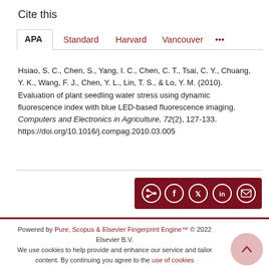Cite this
APA  Standard  Harvard  Vancouver  ...
Hsiao, S. C., Chen, S., Yang, I. C., Chen, C. T., Tsai, C. Y., Chuang, Y. K., Wang, F. J., Chen, Y. L., Lin, T. S., & Lo, Y. M. (2010). Evaluation of plant seedling water stress using dynamic fluorescence index with blue LED-based fluorescence imaging. Computers and Electronics in Agriculture, 72(2), 127-133. https://doi.org/10.1016/j.compag.2010.03.005
[Figure (other): Share buttons bar (dark red background) with social sharing icons: share, Facebook, Twitter, LinkedIn, email]
Powered by Pure, Scopus & Elsevier Fingerprint Engine™ © 2022 Elsevier B.V.
We use cookies to help provide and enhance our service and tailor content. By continuing you agree to the use of cookies